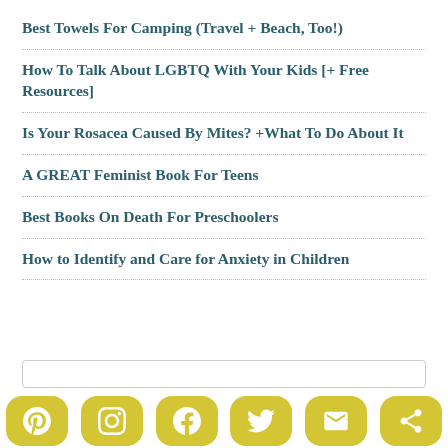Best Towels For Camping (Travel + Beach, Too!)
How To Talk About LGBTQ With Your Kids [+ Free Resources]
Is Your Rosacea Caused By Mites? +What To Do About It
A GREAT Feminist Book For Teens
Best Books On Death For Preschoolers
How to Identify and Care for Anxiety in Children
[Figure (other): Social media share buttons: Pinterest, Instagram, Facebook, Twitter, Email, Share icons in yellow rounded rectangles]